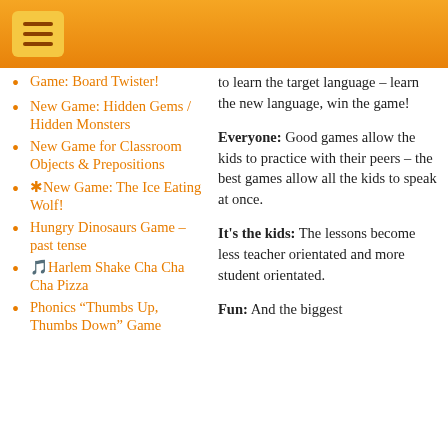Game: Board Twister!
New Game: Hidden Gems / Hidden Monsters
New Game for Classroom Objects & Prepositions
✳New Game: The Ice Eating Wolf!
Hungry Dinosaurs Game – past tense
🎵Harlem Shake Cha Cha Cha Pizza
Phonics “Thumbs Up, Thumbs Down” Game
to learn the target language – learn the new language, win the game!
Everyone: Good games allow the kids to practice with their peers – the best games allow all the kids to speak at once.
It's the kids: The lessons become less teacher orientated and more student orientated.
Fun: And the biggest